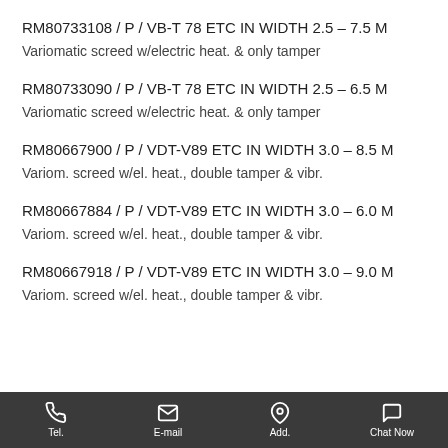RM80733108 / P / VB-T 78 ETC IN WIDTH 2.5 – 7.5 M
Variomatic screed w/electric heat. & only tamper
RM80733090 / P / VB-T 78 ETC IN WIDTH 2.5 – 6.5 M
Variomatic screed w/electric heat. & only tamper
RM80667900 / P / VDT-V89 ETC IN WIDTH 3.0 – 8.5 M
Variom. screed w/el. heat., double tamper & vibr.
RM80667884 / P / VDT-V89 ETC IN WIDTH 3.0 – 6.0 M
Variom. screed w/el. heat., double tamper & vibr.
RM80667918 / P / VDT-V89 ETC IN WIDTH 3.0 – 9.0 M
Variom. screed w/el. heat., double tamper & vibr.
Tel.  E-mail  Add.  Chat Now